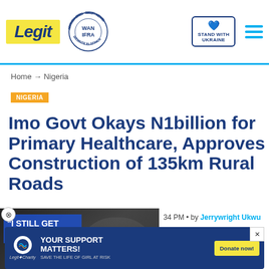Legit | WAN IFRA Best News Website in Africa 2021 | Stand with Ukraine
Home → Nigeria
NIGERIA
Imo Govt Okays N1billion for Primary Healthcare, Approves Construction of 135km Rural Roads
[Figure (photo): Video thumbnail showing a couple with text 'I STILL GET BUTTERFLIES']
34 PM • by Jerrywright Ukwu
res in Imo state are about to be dimma administration
[Figure (other): Advertisement banner: YOUR SUPPORT MATTERS! SAVE THE LIFE OF GIRL AT RISK - Legit Charity / WARF, Donate now!]